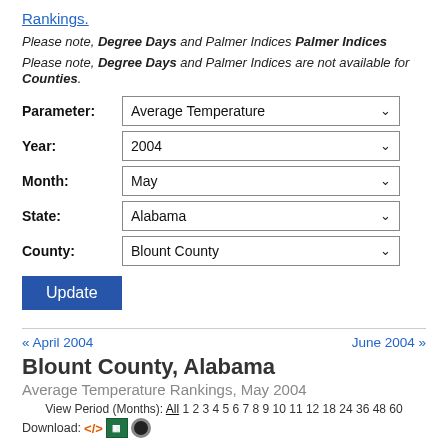Rankings.
Please note, Degree Days and Palmer Indices are not available for Counties.
| Label | Value |
| --- | --- |
| Parameter: | Average Temperature |
| Year: | 2004 |
| Month: | May |
| State: | Alabama |
| County: | Blount County |
Update
« April 2004
June 2004 »
Blount County, Alabama
Average Temperature Rankings, May 2004
View Period (Months): All 1 2 3 4 5 6 7 8 9 10 11 12 18 24 36 48 60
Download: